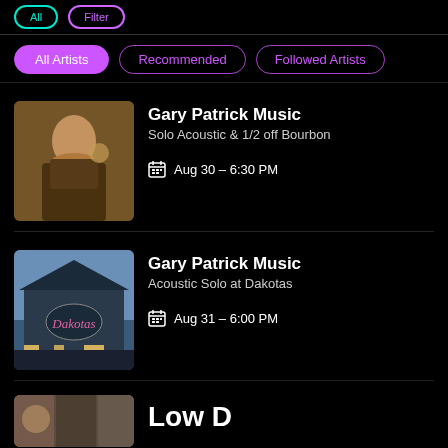All Artists | Recommended | Followed Artists
[Figure (photo): Photo of a man in a vest playing at an event with golden bokeh background]
Gary Patrick Music
Solo Acoustic & 1/2 off Bourbon
Aug 30 - 6:30 PM
[Figure (photo): Photo of Dakotas restaurant exterior with neon sign at dusk]
Gary Patrick Music
Acoustic Solo at Dakotas
Aug 31 - 6:00 PM
Low D